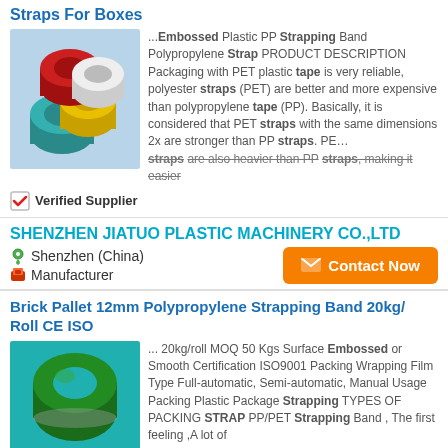Straps For Boxes
[Figure (photo): Colorful rolls of PP/PET strapping tape in red, white, green, yellow, and teal colors stacked together on a light blue background.]
...Embossed Plastic PP Strapping Band Polypropylene Strap PRODUCT DESCRIPTION Packaging with PET plastic tape is very reliable, polyester straps (PET) are better and more expensive than polypropylene tape (PP). Basically, it is considered that PET straps with the same dimensions 2x are stronger than PP straps. PE... straps are also heavier than PP straps, making it easier
Verified Supplier
SHENZHEN JIATUO PLASTIC MACHINERY CO.,LTD
Shenzhen (China)
Manufacturer
Contact Now
Brick Pallet 12mm Polypropylene Strapping Band 20kg/ Roll CE ISO
[Figure (photo): A green polypropylene strapping band roll/coil on a teal/turquoise background.]
... 20kg/roll MOQ 50 Kgs Surface Embossed or Smooth Certification ISO9001 Packing Wrapping Film Type Full-automatic, Semi-automatic, Manual Usage Packing Plastic Package Strapping TYPES OF PACKING STRAP PP/PET Strapping Band , The first feeling ,A lot of